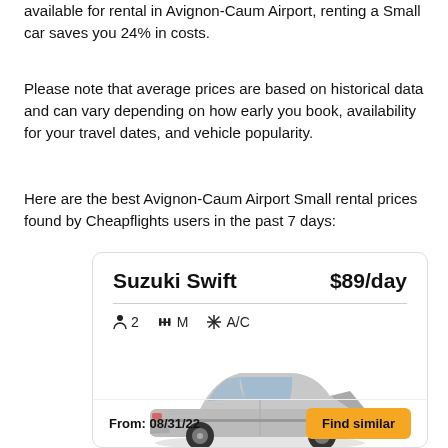available for rental in Avignon-Caum Airport, renting a Small car saves you 24% in costs.
Please note that average prices are based on historical data and can vary depending on how early you book, availability for your travel dates, and vehicle popularity.
Here are the best Avignon-Caum Airport Small rental prices found by Cheapflights users in the past 7 days:
[Figure (other): Car rental card for Suzuki Swift at $89/day with 2 passengers, manual transmission (M), and A/C. Shows an image of a silver compact car. Card includes a 'Find similar' button and a date.]